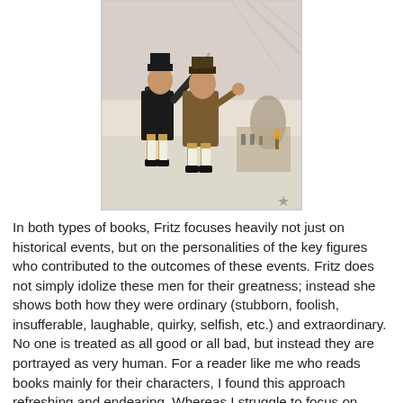[Figure (illustration): Historical illustration showing two colonial-era figures in period clothing, one raising an arm, against a winter battle scene background]
In both types of books, Fritz focuses heavily not just on historical events, but on the personalities of the key figures who contributed to the outcomes of these events. Fritz does not simply idolize these men for their greatness; instead she shows both how they were ordinary (stubborn, foolish, insufferable, laughable, quirky, selfish, etc.) and extraordinary. No one is treated as all good or all bad, but instead they are portrayed as very human. For a reader like me who reads books mainly for their characters, I found this approach refreshing and endearing. Whereas I struggle to focus on lengthy informational texts that try to drill details into my memory, the "characters" in each of these books were fascinating to me. As I read in the evenings, I kept saying to my husband, "Hey did you know...?" and "I never knew that..."